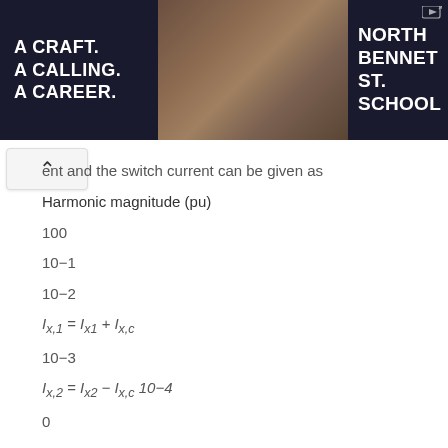[Figure (other): Advertisement banner for North Bennet St. School featuring violin making and repair. Dark background with white text on left reading 'A CRAFT. A CALLING. A CAREER.' Center shows hands working on a violin. Right side shows 'NORTH BENNET ST. SCHOOL' logo.]
ent and the switch current can be given as
Harmonic magnitude (pu)
100
10−1
10−2
10−3
0
50
100 Harmonic order